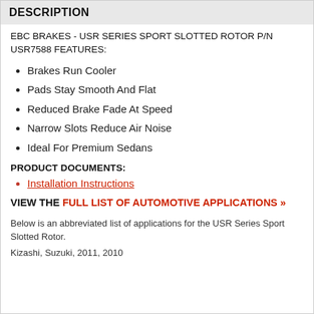DESCRIPTION
EBC BRAKES - USR SERIES SPORT SLOTTED ROTOR P/N USR7588 FEATURES:
Brakes Run Cooler
Pads Stay Smooth And Flat
Reduced Brake Fade At Speed
Narrow Slots Reduce Air Noise
Ideal For Premium Sedans
PRODUCT DOCUMENTS:
Installation Instructions
VIEW THE FULL LIST OF AUTOMOTIVE APPLICATIONS »
Below is an abbreviated list of applications for the USR Series Sport Slotted Rotor.
Kizashi, Suzuki, 2011, 2010